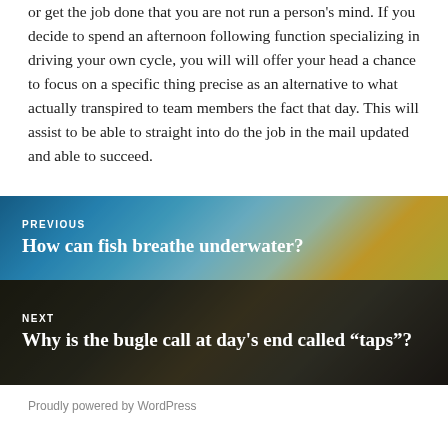or get the job done that you are not run a person's mind. If you decide to spend an afternoon following function specializing in driving your own cycle, you will will offer your head a chance to focus on a specific thing precise as an alternative to what actually transpired to team members the fact that day. This will assist to be able to straight into do the job in the mail updated and able to succeed.
[Figure (photo): Navigation block with underwater fish photo background, labeled PREVIOUS with title 'How can fish breathe underwater?']
[Figure (photo): Navigation block with silhouette of bugle player photo background, labeled NEXT with title 'Why is the bugle call at day’s end called “taps”?']
Proudly powered by WordPress